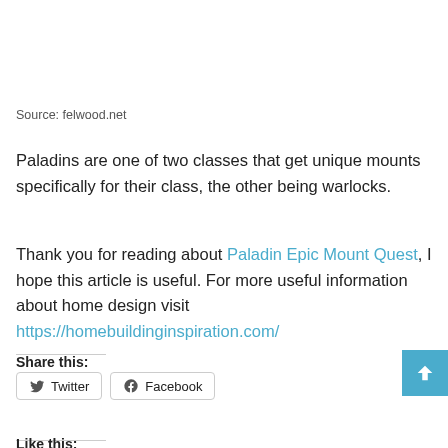Source: felwood.net
Paladins are one of two classes that get unique mounts specifically for their class, the other being warlocks.
Thank you for reading about Paladin Epic Mount Quest, I hope this article is useful. For more useful information about home design visit https://homebuildinginspiration.com/
Share this:
Twitter
Facebook
Like this: